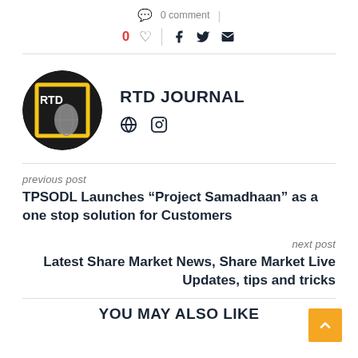0 comment
0 (like) | (facebook) (twitter) (email)
[Figure (logo): RTD Journal circular avatar logo with dark background and yellow bracket frame with globe/trophy imagery]
RTD JOURNAL
(globe icon) (instagram icon)
previous post
TPSODL Launches “Project Samadhaan” as a one stop solution for Customers
next post
Latest Share Market News, Share Market Live Updates, tips and tricks
YOU MAY ALSO LIKE